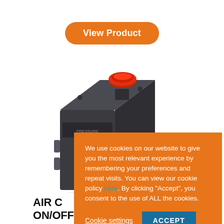[Figure (other): Orange pill-shaped 'View Product' button at the top center of the page]
[Figure (photo): Close-up photo of a dark grey/black air compressor on/off switch with a red button on top, photographed on a white background]
We use cookies on our website to give you the most relevant experience by remembering your preferences and repeat visits. You can view our cookie policy here. By clicking “Accept”, you consent to the use of ALL the cookies.
Cookie settings   ACCEPT
AIR C… ON/OFF SWITCH FOUR PORT